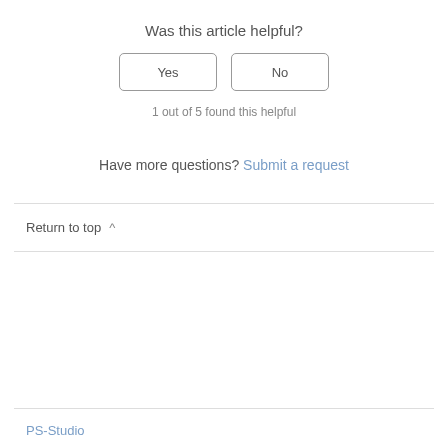Was this article helpful?
Yes
No
1 out of 5 found this helpful
Have more questions? Submit a request
Return to top ^
PS-Studio